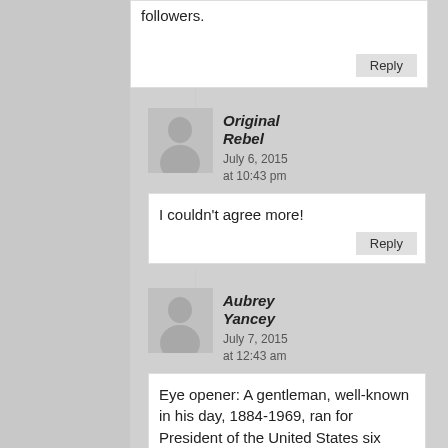followers.
Reply
[Figure (illustration): Generic user avatar silhouette placeholder]
Original Rebel
July 6, 2015 at 10:43 pm
I couldn't agree more!
Reply
[Figure (illustration): Generic user avatar silhouette placeholder]
Aubrey Yancey
July 7, 2015 at 12:43 am
Eye opener: A gentleman, well-known in his day, 1884-1969, ran for President of the United States six times in the American Socialist party.